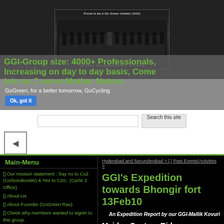[Figure (photo): Group photo of GGI cycling team with text 'Proud to be a Go Green Initiator (GGI)' at top and 'Go Green, for a better tomorrow, Go Cycling' at bottom]
GGI-Group size: 4000+ Professionals, Increasing on day to day basis, Come join us 2 serve Mother Nature.
GoGreen, for a better tomorrow, GoCycling
Ok, got it
Search this site
Main-Menu
[] Our mission statement : Say no to Co2 (Corbondioxide) & Yes to C20.. (Cycle 2 Office)
[] About-Us
[] About-Founder (GoGreen Rao)
[] Check why members wanted to signin to this group.
[ ] News & Media
[] Registration Form
[] Basic-Guidelines for New Bikers
[] Special Thanks & Credits
Hyderabad and Secunderabad > [.] Past Events/Activities >
GGI's Expedition towards Bhongir fort 13Feb10
An Expedition Report by our GGI-Mallik Kovuri
Maiden Century Ride on